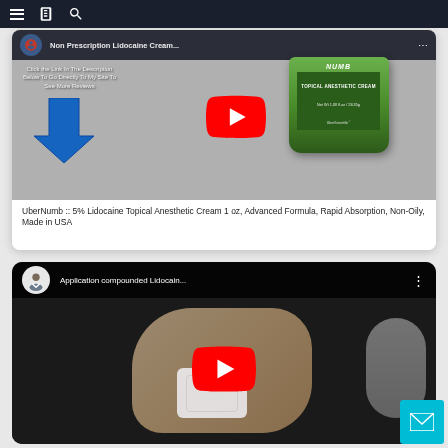[Figure (screenshot): Navigation bar with hamburger menu, book icon, and search icon on dark background]
[Figure (screenshot): YouTube video thumbnail showing UberNumb topical anesthetic cream jar with NUMB label, blue arrow, and YouTube play button. Title: Non Prescription Lidocaine Cream...]
UberNumb :: 5% Lidocaine Topical Anesthetic Cream 1 oz, Advanced Formula, Rapid Absorption, Non-Oily, Made in USA
[Figure (screenshot): YouTube video thumbnail showing application of compounded Lidocaine with doctor profile image, person's wrist with patch, and YouTube play button. Title: Application compounded Lidocain...]